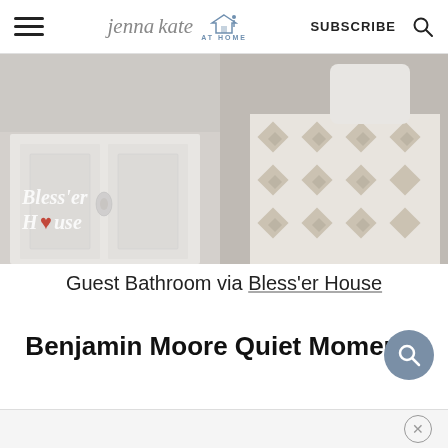jenna kate at home — SUBSCRIBE [search icon]
[Figure (photo): Guest bathroom interior showing white vanity cabinet with ornate silver handles, white toilet, gray tile floor, and a geometric diamond-pattern area rug in beige and white. Bless'er House watermark logo visible in lower left of image.]
Guest Bathroom via Bless'er House
Benjamin Moore Quiet Moments